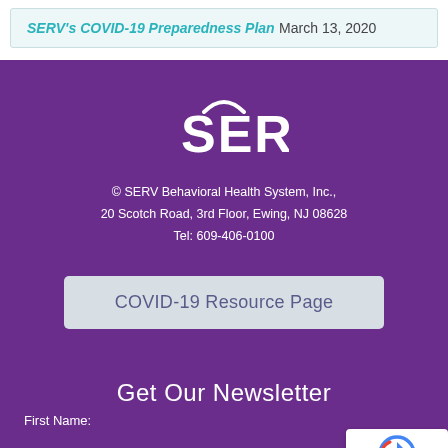SERV's COVID-19 Preparedness Plan March 13, 2020
[Figure (logo): SERV logo in white on purple background]
© SERV Behavioral Health System, Inc., 20 Scotch Road, 3rd Floor, Ewing, NJ 08628 Tel: 609-406-0100
COVID-19 Resource Page
Get Our Newsletter
First Name: